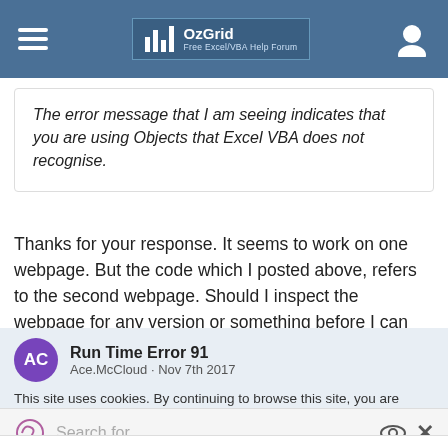OzGrid — Free Excel/VBA Help Forum
The error message that I am seeing indicates that you are using Objects that Excel VBA does not recognise.
Thanks for your response. It seems to work on one webpage. But the code which I posted above, refers to the second webpage. Should I inspect the webpage for any version or something before I can code it again? Btw, I'm using Office 2016.
Run Time Error 91
Ace.McCloud · Nov 7th 2017
This site uses cookies. By continuing to browse this site, you are
Search for
1.   KEYWORD SEARCH ENGINE